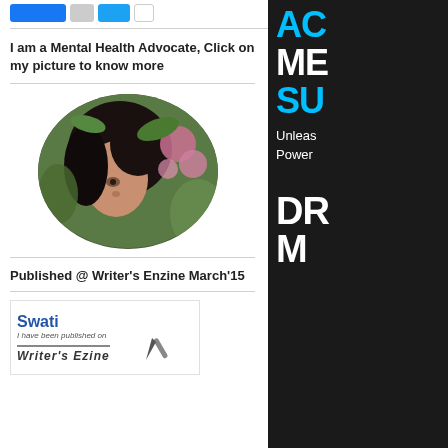[Figure (other): Social media share buttons row (Facebook, gray, Twitter, outline)]
I am a Mental Health Advocate, Click on my picture to know more
[Figure (photo): Circular cropped profile photo of a woman with dark hair among pink and green foliage/plants]
Published @ Writer's Enzine March'15
[Figure (other): Writer's Ezine published badge showing name 'Swati' with text 'I have been published on Writer's Ezine']
[Figure (other): Right side advertisement banner with blue and white large text: ACT... MEA... SUC... Unleash Power DR M...]